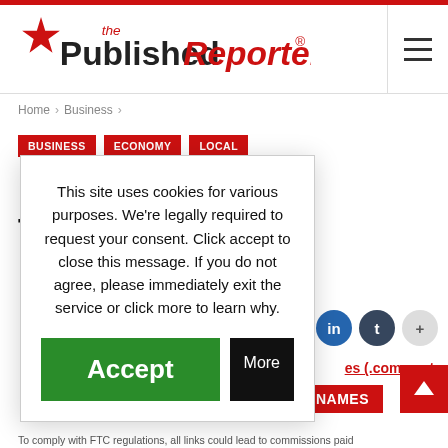the PublishedReporter®
Home > Business >
BUSINESS
ECONOMY
LOCAL
Report: Electric Transportation ... Florida
This site uses cookies for various purposes. We're legally required to request your consent. Click accept to close this message. If you do not agree, please immediately exit the service or click more to learn why.
Accept | More
es (.com, .net,
DOMAIN NAMES
To comply with FTC regulations, all links could lead to commissions paid